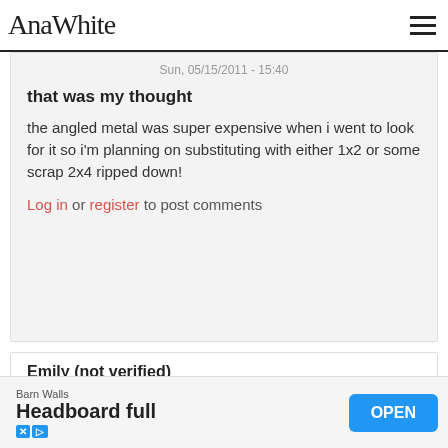AnaWhite
Sun, 05/15/2011 - 15:40
that was my thought
the angled metal was super expensive when i went to look for it so i'm planning on substituting with either 1x2 or some scrap 2x4 ripped down!
Log in or register to post comments
Emily (not verified)
Tue, 11/16/2010 - 02:04
Barn Walls Headboard full